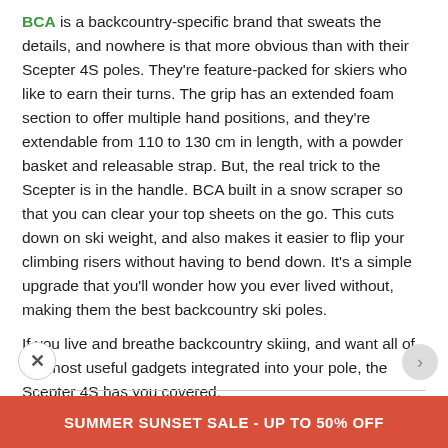BCA is a backcountry-specific brand that sweats the details, and nowhere is that more obvious than with their Scepter 4S poles. They're feature-packed for skiers who like to earn their turns. The grip has an extended foam section to offer multiple hand positions, and they're extendable from 110 to 130 cm in length, with a powder basket and releasable strap. But, the real trick to the Scepter is in the handle. BCA built in a snow scraper so that you can clear your top sheets on the go. This cuts down on ski weight, and also makes it easier to flip your climbing risers without having to bend down. It's a simple upgrade that you'll wonder how you ever lived without, making them the best backcountry ski poles.
If you live and breathe backcountry skiing, and want all of the most useful gadgets integrated into your pole, the Scepter 4S has you covered.
| Material | Features | Original Price |
| --- | --- | --- |